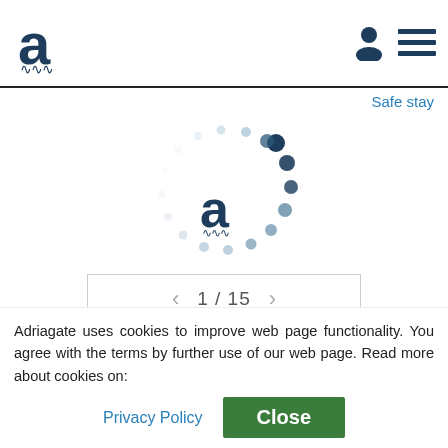[Figure (logo): Adriagate logo: stylized letter 'a' with wave underline in dark blue]
[Figure (illustration): Navigation icons: person silhouette and hamburger menu in dark blue]
Safe stay
[Figure (illustration): Loading spinner: circular dotted ring around an 'a' with wave logo in center]
< 1 / 15 >
1500 m
Book
Apartment Mladen
Icici  Free Internet  Free Air Conditioning
Adriagate uses cookies to improve web page functionality. You agree with the terms by further use of our web page. Read more about cookies on:
Privacy Policy
Close